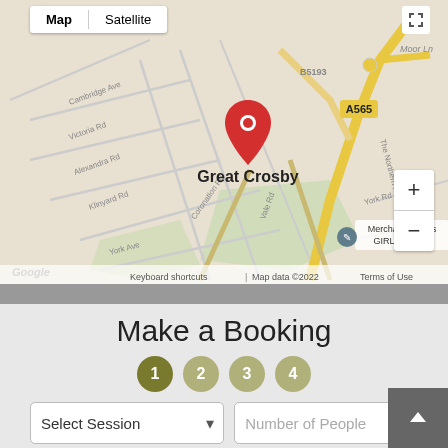[Figure (map): Google Map screenshot showing Great Crosby area with a red location pin marker, roads including A565, B5193, Moor Ln, street names (Cambridge Ave, Victoria Rd, Alexandra Rd, Klinyard Rd, Coronation Rd, Vale Rd, York Rd, York Ave, Moor Dr), and a Merchant Taylors GIRLS School marker. Map/Satellite toggle at top left, zoom controls on right, Google logo bottom left, and map attribution at bottom.]
Make a Booking
[Figure (infographic): Four numbered step circles: 1 (dark olive/active), 2 (light olive), 3 (light olive), 4 (light olive)]